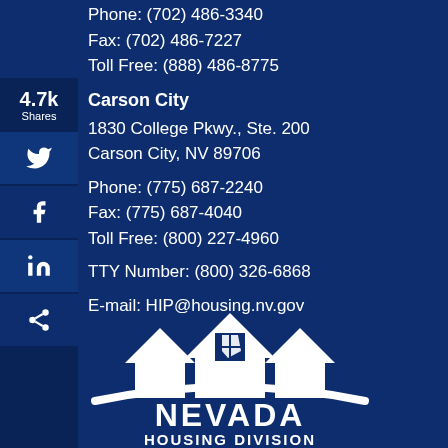Phone: (702) 486-3340
Fax: (702) 486-7227
Toll Free: (888) 486-8775
Carson City
1830 College Pkwy., Ste. 200
Carson City, NV 89706
Phone: (775) 687-2240
Fax: (775) 687-4040
Toll Free: (800) 227-4960
TTY Number: (800) 326-6868
E-mail: HIP@housing.nv.gov
[Figure (logo): Nevada Housing Division logo with house icon and text]